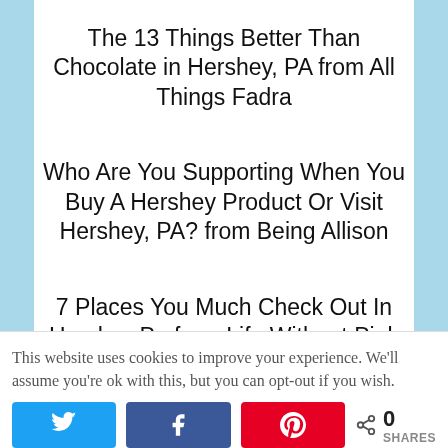The 13 Things Better Than Chocolate in Hershey, PA from All Things Fadra
Who Are You Supporting When You Buy A Hershey Product Or Visit Hershey, PA? from Being Allison
7 Places You Much Check Out In Hershey,Pa from Life Without Pink
This website uses cookies to improve your experience. We'll assume you're ok with this, but you can opt-out if you wish.
0 SHARES